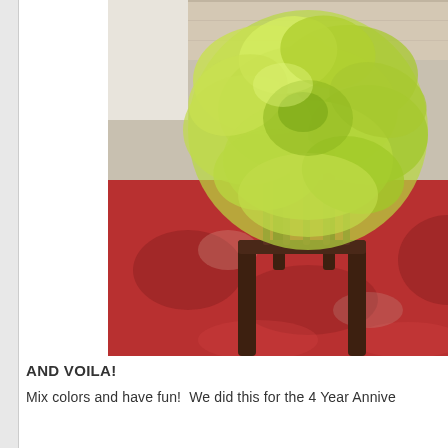[Figure (photo): A large green tissue paper pom-pom decoration sitting on the back of a dark wooden chair. The chair is on a red patterned rug. The background shows a wooden floor and furniture.]
AND VOILA!
Mix colors and have fun!  We did this for the 4 Year Annive